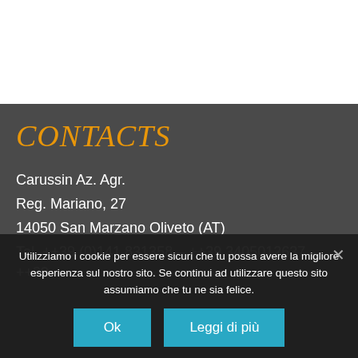CONTACTS
Carussin Az. Agr.
Reg. Mariano, 27
14050 San Marzano Oliveto (AT)
Tel. ++39 (0)141 831358 – ++39 3405012637 – ++39
Utilizziamo i cookie per essere sicuri che tu possa avere la migliore esperienza sul nostro sito. Se continui ad utilizzare questo sito assumiamo che tu ne sia felice.
Ok    Leggi di più